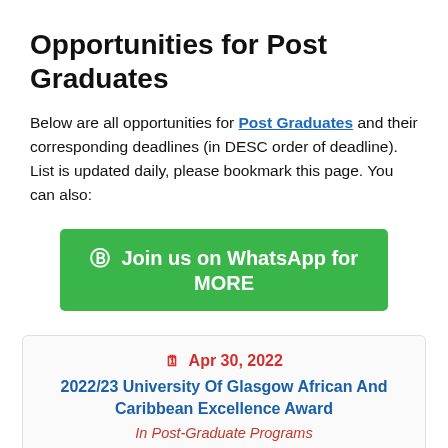Opportunities for Post Graduates
Below are all opportunities for Post Graduates and their corresponding deadlines (in DESC order of deadline). List is updated daily, please bookmark this page. You can also:
[Figure (other): Green WhatsApp button: Join us on WhatsApp for MORE]
🗓 Apr 30, 2022
2022/23 University Of Glasgow African And Caribbean Excellence Award
In Post-Graduate Programs